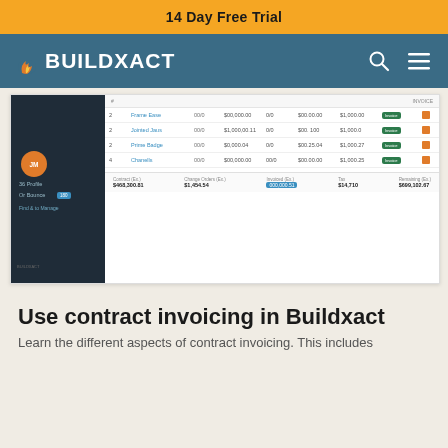14 Day Free Trial
[Figure (screenshot): BuildXact navigation bar with flame logo and BUILDXACT text on teal background with search and menu icons]
[Figure (screenshot): BuildXact software screenshot showing an invoice/contract management table with sidebar navigation, rows of invoice data with status badges and action icons, and a totals row at the bottom]
Use contract invoicing in Buildxact
Learn the different aspects of contract invoicing. This includes